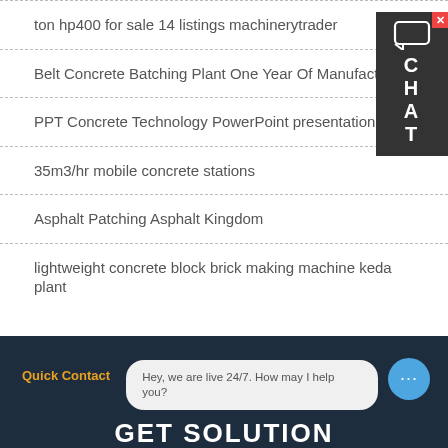ton hp400 for sale 14 listings machinerytrader
Belt Concrete Batching Plant One Year Of Manufacture
PPT Concrete Technology PowerPoint presentation free
35m3/hr mobile concrete stations
Asphalt Patching Asphalt Kingdom
lightweight concrete block brick making machine keda plant
Quick Contact
Hey, we are live 24/7. How may I help you?
GET SOLUTION